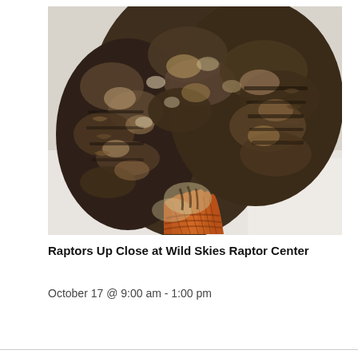[Figure (photo): Close-up photograph of a raptor (hawk or similar bird of prey) showing detailed feather patterns — brown, tan, black and white mottled plumage with a distinctive rust/orange-colored tail fanned out at the bottom, against a white snowy background.]
Raptors Up Close at Wild Skies Raptor Center
October 17 @ 9:00 am - 1:00 pm